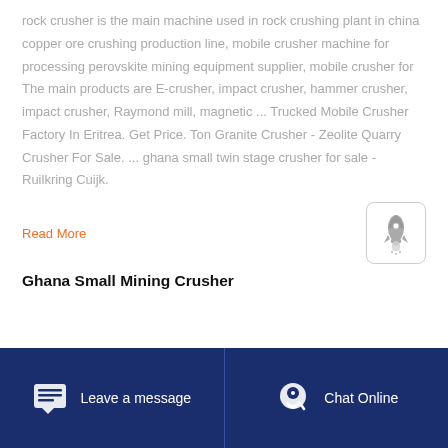rock crusher is the main machine used in rock crushing plant in china copper ore crushing production line, mobile crusher machine for processing perovskite mining equipment supplier, mobile crusher for The main products are E-crusher, impact crusher, hammer crusher, impact crusher, Raymond mill, magnetic ... Trucked Mobile Crusher Factory In Eritrea. Get Price. Ton Granite Crusher - Zeolite Quarry Crusher For Sale. ... ghana small twin stage crusher for sale - Ruilkring Cuijk.
Read More
[Figure (illustration): Rocket icon inside a rounded rectangle border]
Ghana Small Mining Crusher
Leave a message   Chat Online